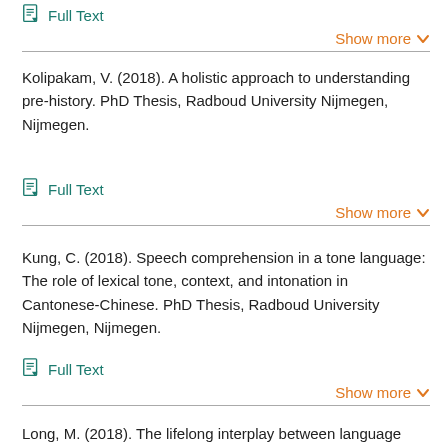Full Text
Show more
Kolipakam, V. (2018). A holistic approach to understanding pre-history. PhD Thesis, Radboud University Nijmegen, Nijmegen.
Full Text
Show more
Kung, C. (2018). Speech comprehension in a tone language: The role of lexical tone, context, and intonation in Cantonese-Chinese. PhD Thesis, Radboud University Nijmegen, Nijmegen.
Full Text
Show more
Long, M. (2018). The lifelong interplay between language and